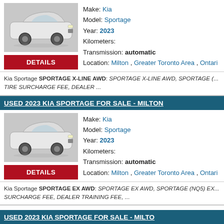[Figure (photo): White Kia Sportage SUV side view on grey background]
Make: Kia
Model: Sportage
Year: 2023
Kilometers:
Transmission: automatic
Location: Milton , Greater Toronto Area , Ontario
DETAILS
Kia Sportage SPORTAGE X-LINE AWD: SPORTAGE X-LINE AWD, SPORTAGE (... TIRE SURCHARGE FEE, DEALER ...
USED 2023 KIA SPORTAGE FOR SALE - MILTON
[Figure (photo): White Kia Sportage SUV side view on grey background]
Make: Kia
Model: Sportage
Year: 2023
Kilometers:
Transmission: automatic
Location: Milton , Greater Toronto Area , Ontario
DETAILS
Kia Sportage SPORTAGE EX AWD: SPORTAGE EX AWD, SPORTAGE (NQ5) EX... SURCHARGE FEE, DEALER TRAINING FEE, ...
USED 2023 KIA SPORTAGE FOR SALE - MILTON